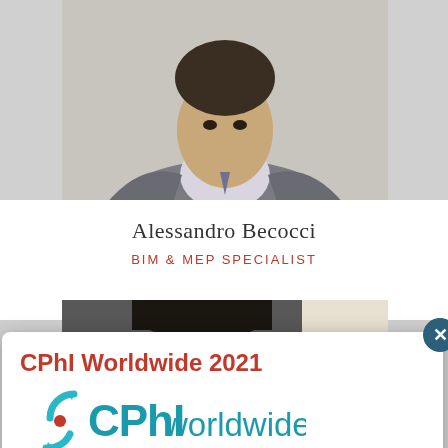[Figure (photo): Portrait photo of a man in a suit, cropped to head and shoulders, shown against a light background]
Alessandro Becocci
BIM & MEP SPECIALIST
[Figure (photo): Partial photo of another person, dark hair visible, cropped]
CPhI Worldwide 2021
[Figure (logo): CPhI worldwide logo with cyan circular arrows icon and CPhI worldwide text in teal]
Techniconsult Group exposes at CPhI Worldwide. Come and visit us at stand #2A40!